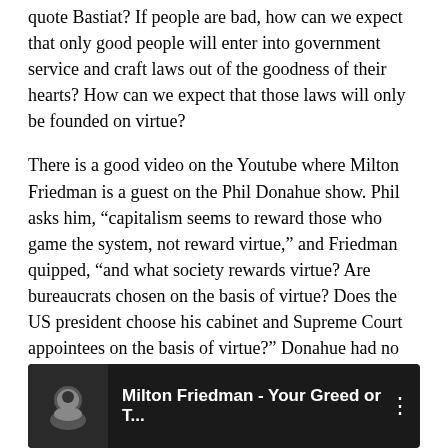quote Bastiat? If people are bad, how can we expect that only good people will enter into government service and craft laws out of the goodness of their hearts? How can we expect that those laws will only be founded on virtue?
There is a good video on the Youtube where Milton Friedman is a guest on the Phil Donahue show. Phil asks him, “capitalism seems to reward those who game the system, not reward virtue,” and Friedman quipped, “and what society rewards virtue? Are bureaucrats chosen on the basis of virtue? Does the US president choose his cabinet and Supreme Court appointees on the basis of virtue?” Donahue had no answer for him.
[Figure (screenshot): YouTube video thumbnail showing Milton Friedman - Your Greed or T... with a silhouette icon and three-dot menu]